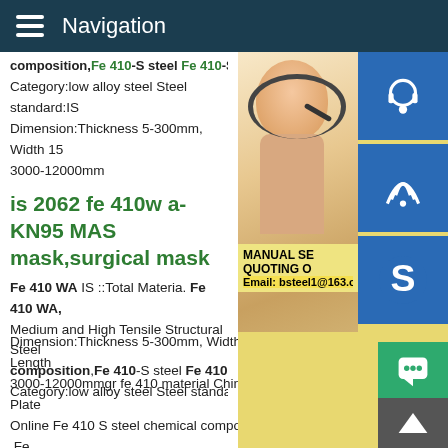Navigation
composition,Fe 410-S steel Fe 410-S ste
Category:low alloy steel Steel standard:IS
Dimension:Thickness 5-300mm, Width 15 3000-12000mm
is 2062 fe 410w a-KN95 MASK,surgical mask
Fe 410 WA IS ::Total Materia. Fe 410 WA, Medium and High Tensile Structural Steel composition,Fe 410-S steel Fe 410-S ste Category:low alloy steel Steel standard:IS Dimension:Thickness 5-300mm, Width 1500-3500mm, Length 3000-12000mmgr fe 410 material China Buy A36 Steel Plate Online Fe 410 S steel chemical composition,Fe 410 S steel .Fe S steel plate Steel Categorylow alloy steel Steel standard:IS S grade:IS Fe 410 S DimensionThickness 5 300mm,Width 1500 3500mm Length 3000 12000mm Application:specially used for
[Figure (photo): Customer service representative woman with headset smiling, with blue icon buttons for support, phone/Skype overlaid on the right side. Yellow overlay box showing MANUAL SE, QUOTING O, Email: bsteel1@163.com]
[Figure (infographic): Blue icons: headset, phone/wifi, Skype S logo]